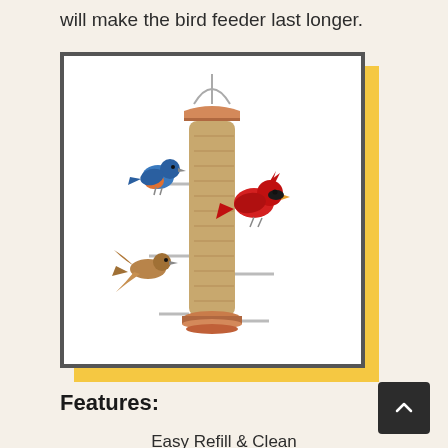will make the bird feeder last longer.
[Figure (photo): A copper tube bird feeder with multiple perches, filled with seed. Three birds are shown: a blue and orange bird on the left perch, a red cardinal on the right perch, and a brown bird flying in from the lower left.]
Features:
Easy Refill & Clean